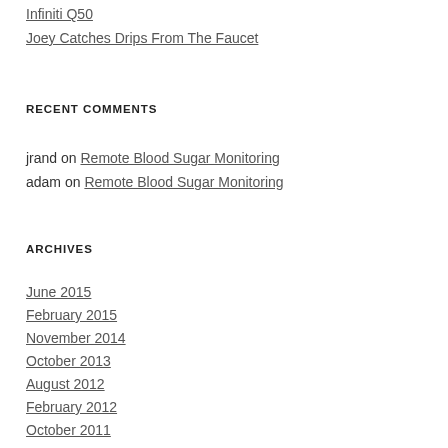Infiniti Q50
Joey Catches Drips From The Faucet
RECENT COMMENTS
jrand on Remote Blood Sugar Monitoring
adam on Remote Blood Sugar Monitoring
ARCHIVES
June 2015
February 2015
November 2014
October 2013
August 2012
February 2012
October 2011